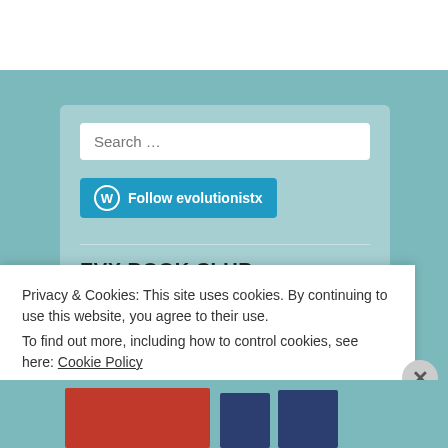[Figure (screenshot): Search input field with placeholder text 'Search ...']
[Figure (screenshot): Follow button with WordPress icon and text 'Follow evolutionistx']
EVX BOOK CLUB
Privacy & Cookies: This site uses cookies. By continuing to use this website, you agree to their use.
To find out more, including how to control cookies, see here: Cookie Policy
Close and accept